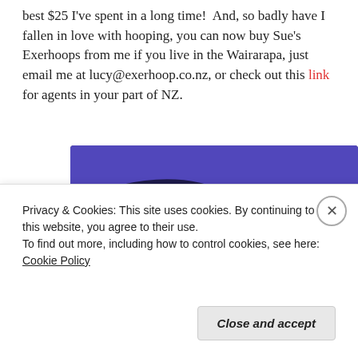best $25 I've spent in a long time!  And, so badly have I fallen in love with hooping, you can now buy Sue's Exerhoops from me if you live in the Wairarapa, just email me at lucy@exerhoop.co.nz, or check out this link for agents in your part of NZ.
[Figure (illustration): Promotional banner with dark navy/purple background and geometric shapes (green triangle, purple rectangle, cyan arc). White bold text reads 'Turn your hobby into a business in 8 steps'.]
Privacy & Cookies: This site uses cookies. By continuing to use this website, you agree to their use.
To find out more, including how to control cookies, see here: Cookie Policy